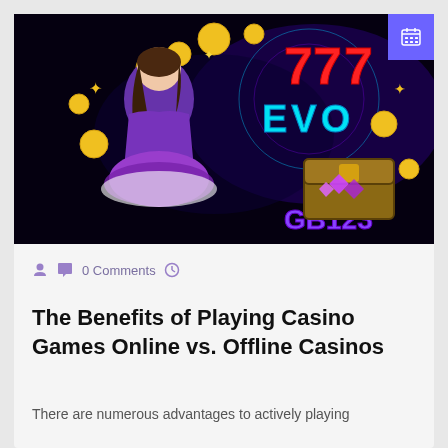[Figure (illustration): Casino promotional banner with anime-style girl in purple outfit, gold coins, '777' slot machine numbers, 'EVO' text in neon blue, treasure chest with gems, and 'GB123' text at bottom on black background]
0 Comments
The Benefits of Playing Casino Games Online vs. Offline Casinos
There are numerous advantages to actively playing